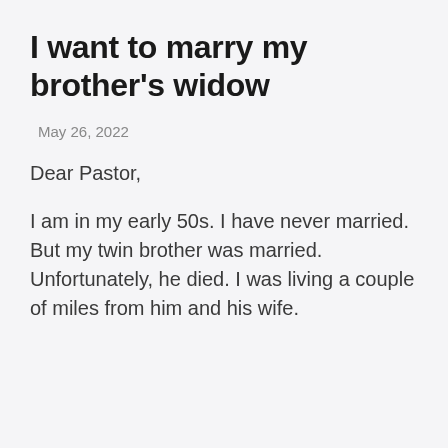I want to marry my brother's widow
May 26, 2022
Dear Pastor,
I am in my early 50s. I have never married. But my twin brother was married. Unfortunately, he died. I was living a couple of miles from him and his wife.